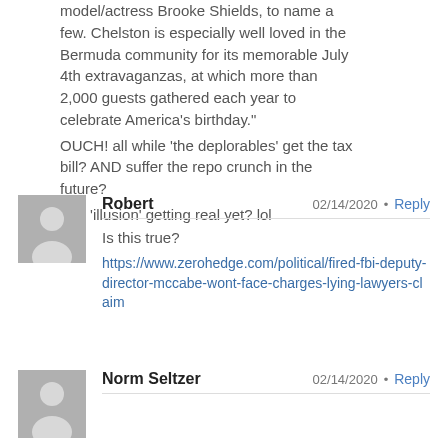model/actress Brooke Shields, to name a few. Chelston is especially well loved in the Bermuda community for its memorable July 4th extravaganzas, at which more than 2,000 guests gathered each year to celebrate America's birthday." OUCH! all while 'the deplorables' get the tax bill? AND suffer the repo crunch in the future? The 'illusion' getting real yet? lol
Robert  02/14/2020 · Reply
Is this true?
https://www.zerohedge.com/political/fired-fbi-deputy-director-mccabe-wont-face-charges-lying-lawyers-claim
Norm Seltzer  02/14/2020 · Reply